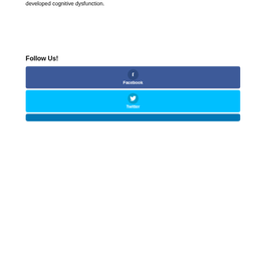developed cognitive dysfunction.
Follow Us!
[Figure (infographic): Facebook social media button — dark blue rounded rectangle with Facebook 'f' icon in a circle, labeled 'Facebook' in white bold text]
[Figure (infographic): Twitter social media button — cyan/light blue rounded rectangle with Twitter bird icon in a circle, labeled 'Twitter' in white bold text]
[Figure (infographic): LinkedIn social media button — dark blue rounded rectangle, partially visible at bottom of page]